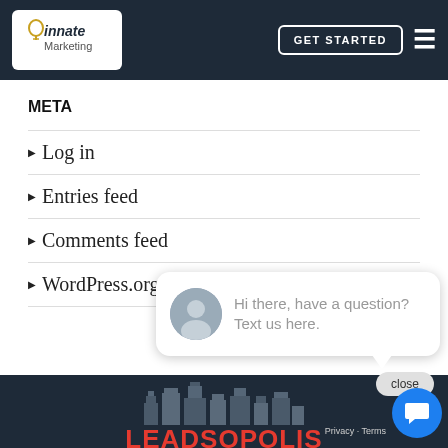[Figure (logo): Innate Marketing logo in white box on dark navy navbar]
GET STARTED
META
Log in
Entries feed
Comments feed
WordPress.org
close
Hi there, have a question? Text us here.
[Figure (logo): Leadsopolis city skyline logo with red LEADSOPOLIS text]